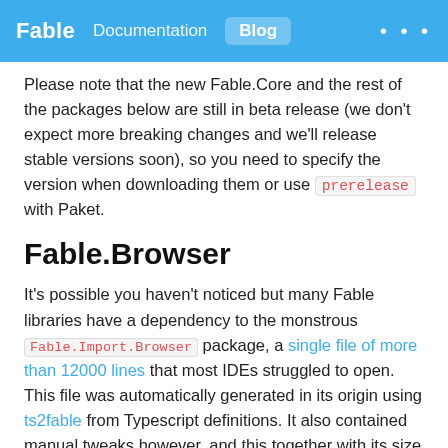Fable  Documentation  Blog  ...
Please note that the new Fable.Core and the rest of the packages below are still in beta release (we don't expect more breaking changes and we'll release stable versions soon), so you need to specify the version when downloading them or use prerelease with Paket.
Fable.Browser
It's possible you haven't noticed but many Fable libraries have a dependency to the monstrous Fable.Import.Browser package, a single file of more than 12000 lines that most IDEs struggled to open. This file was automatically generated in its origin using ts2fable from Typescript definitions. It also contained manual tweaks however, and this together with its size made it very difficult to update.
The fable-compiler/fable-import repository also contains other bindings generated with ts2fable that suffered similar problems, even if the size wasn't so big. Because of this and after